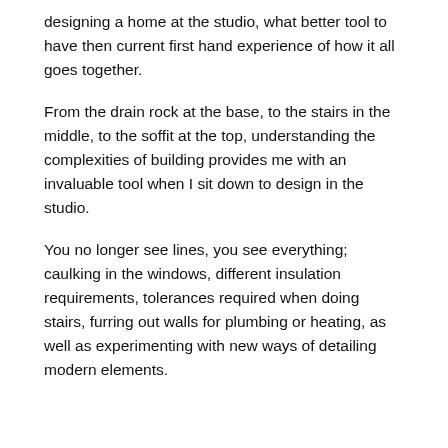designing a home at the studio, what better tool to have then current first hand experience of how it all goes together.
From the drain rock at the base, to the stairs in the middle, to the soffit at the top, understanding the complexities of building provides me with an invaluable tool when I sit down to design in the studio.
You no longer see lines, you see everything; caulking in the windows, different insulation requirements, tolerances required when doing stairs, furring out walls for plumbing or heating, as well as experimenting with new ways of detailing modern elements.